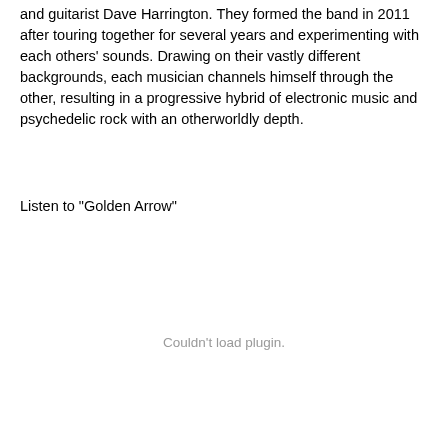and guitarist Dave Harrington. They formed the band in 2011 after touring together for several years and experimenting with each others' sounds. Drawing on their vastly different backgrounds, each musician channels himself through the other, resulting in a progressive hybrid of electronic music and psychedelic rock with an otherworldly depth.
Listen to "Golden Arrow"
Couldn't load plugin.